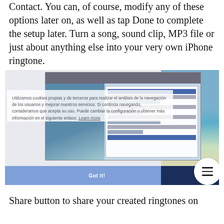Contact. You can, of course, modify any of these options later on, as well as tap Done to complete the setup later. Turn a song, sound clip, MP3 file or just about anything else into your very own iPhone ringtone.
[Figure (screenshot): Screenshot of a desktop application showing a file browser/dialog window overlaid with a cookie consent notice in Spanish. The cookie notice reads: 'Utilizamos cookies propias y de terceros para realizar el análisis de la navegación de los usuarios y mejorar nuestros servicios. Si continúa navegando, consideramos que acepta su uso. Puede cambiar la configuración u obtener más información en el siguiente enlace. Learn more'. Below the cookie overlay is a dark blue 'Got it!' button bar. A hamburger menu icon button appears at the bottom right.]
Share button to share your created ringtones on